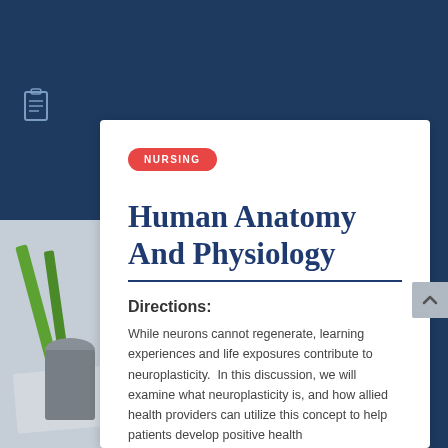[Figure (photo): Dark blue background with a photograph showing pencils/pens and office supplies in the lower left area]
NURSING
Human Anatomy And Physiology
Directions:
While neurons cannot regenerate, learning experiences and life exposures contribute to neuroplasticity.  In this discussion, we will examine what neuroplasticity is, and how allied health providers can utilize this concept to help patients develop positive health